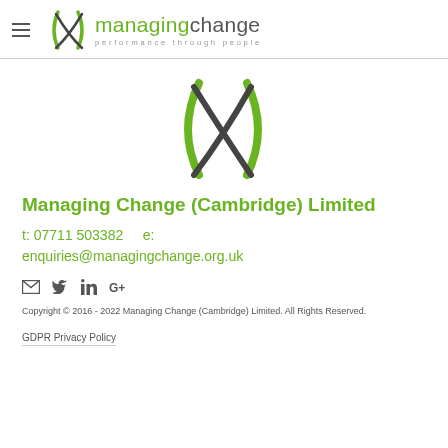managing change — performance through people
[Figure (logo): Managing Change logo icon — two curved lines forming an X shape in green and dark grey]
Managing Change (Cambridge) Limited
t: 07711 503382      e: enquiries@managingchange.org.uk
[Figure (illustration): Social media icons: email, Twitter, LinkedIn, Google+]
Copyright © 2016 - 2022 Managing Change (Cambridge) Limited. All Rights Reserved.
GDPR Privacy Policy